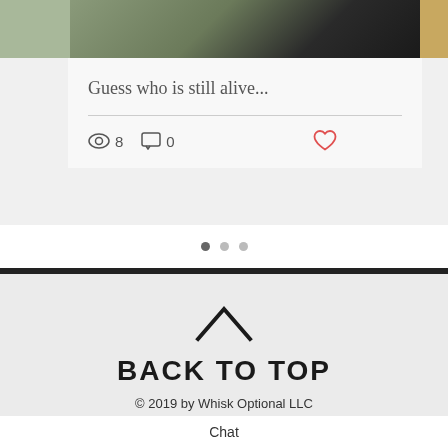[Figure (screenshot): Top portion of a blog card showing a photo of ceramics/dishes on a dark surface]
Guess who is still alive...
8  0
[Figure (infographic): Three dot carousel indicators, first dot active]
BACK TO TOP
© 2019 by Whisk Optional LLC
Chat